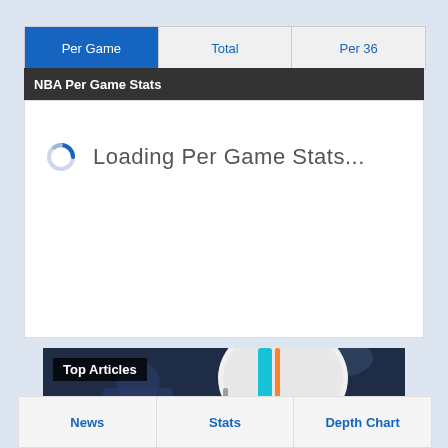Per Game | Total | Per 36
NBA Per Game Stats
Loading Per Game Stats...
[Figure (photo): Football player wearing Miami Dolphins helmet and jersey with number 88, on field background. Overlaid with 'Top Articles' label.]
News | Stats | Depth Chart